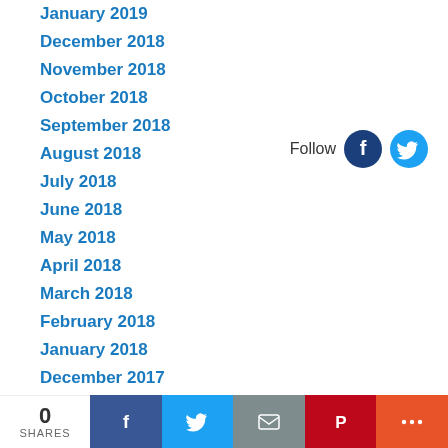January 2019
December 2018
November 2018
October 2018
September 2018
August 2018
July 2018
June 2018
May 2018
April 2018
March 2018
February 2018
January 2018
December 2017
[Figure (infographic): Follow label with Facebook and Twitter circular icon buttons]
0 SHARES  [Facebook share] [Twitter share] [Email share] [Pinterest share] [More share]